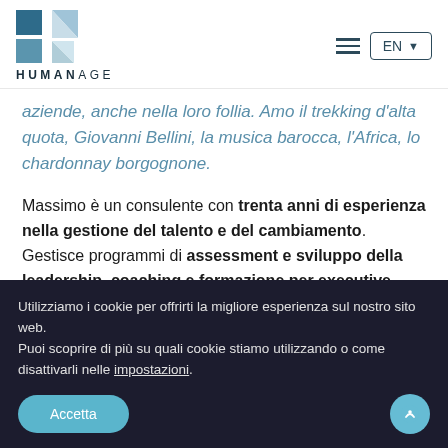[Figure (logo): HumanAge logo with blue square, triangular shapes and HUMANAGE text]
aziende, anche nella loro follia. Amo il trekking d'alta quota, Giovanni Bellini, la musica barocca, l'Africa, lo chardonnay borgognone.
Massimo è un consulente con trenta anni di esperienza nella gestione del talento e del cambiamento. Gestisce programmi di assessment e sviluppo della leadership, coaching e formazione per executive, interventi per lo sviluppo dell'efficacia dei team di vertice.
Utilizziamo i cookie per offrirti la migliore esperienza sul nostro sito web.
Puoi scoprire di più su quali cookie stiamo utilizzando o come disattivarli nelle impostazioni.